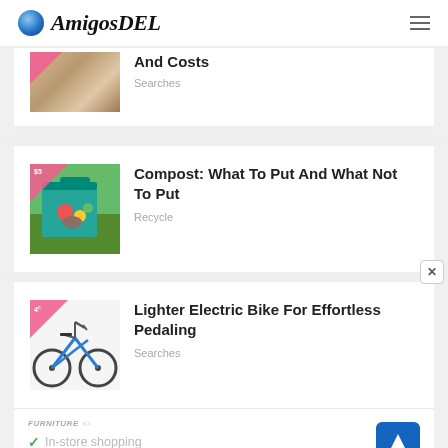AmigosDEL
[Figure (screenshot): Partially visible article card with a photo of boxes/storage and truncated title 'And Costs', category 'Searches']
[Figure (photo): Green compost bin filled with food scraps and vegetable waste on grass]
Compost: What To Put And What Not To Put
Recycle
[Figure (photo): Blue/grey electric bicycle on white background]
Lighter Electric Bike For Effortless Pedaling
Searches
[Figure (screenshot): Advertisement banner showing In-store shopping, In-store pickup, Delivery checkmarks with a blue navigation arrow icon]